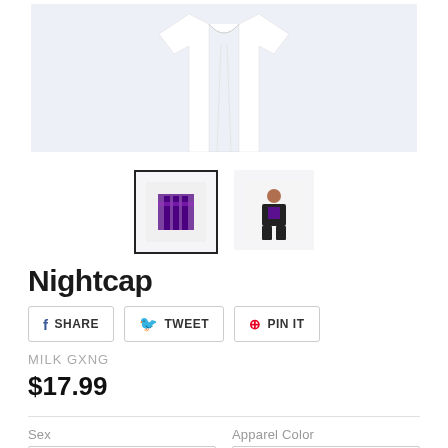[Figure (photo): White t-shirt product photo on light blue-gray background, cropped top portion showing the shirt body]
[Figure (photo): Thumbnail 1: close-up of purple graphic design on white shirt, selected with black border]
[Figure (photo): Thumbnail 2: person wearing dark t-shirt with purple design, standing]
Nightcap
SHARE  TWEET  PIN IT
MILK GXNG
$17.99
Sex
Apparel Color